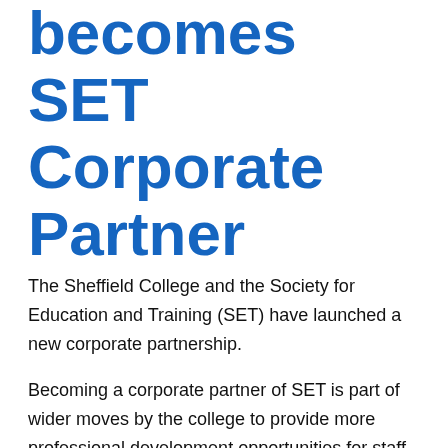becomes SET Corporate Partner
The Sheffield College and the Society for Education and Training (SET) have launched a new corporate partnership.
Becoming a corporate partner of SET is part of wider moves by the college to provide more professional development opportunities for staff. SET is the only professional membership body